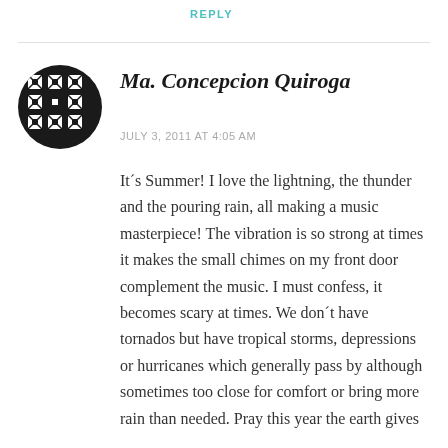REPLY
[Figure (illustration): Circular avatar with black and white geometric/mosaic pattern design]
Ma. Concepcion Quiroga
JULY 3, 2011 AT 4:05 AM
It´s Summer! I love the lightning, the thunder and the pouring rain, all making a music masterpiece! The vibration is so strong at times it makes the small chimes on my front door complement the music. I must confess, it becomes scary at times. We don´t have tornados but have tropical storms, depressions or hurricanes which generally pass by although sometimes too close for comfort or bring more rain than needed. Pray this year the earth gives